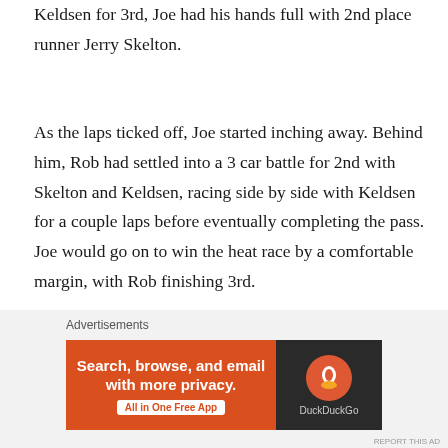Keldsen for 3rd, Joe had his hands full with 2nd place runner Jerry Skelton.
As the laps ticked off, Joe started inching away. Behind him, Rob had settled into a 3 car battle for 2nd with Skelton and Keldsen, racing side by side with Keldsen for a couple laps before eventually completing the pass. Joe would go on to win the heat race by a comfortable margin, with Rob finishing 3rd.
[Figure (screenshot): DuckDuckGo advertisement banner: orange section with text 'Search, browse, and email with more privacy. All in One Free App' and dark section with DuckDuckGo logo]